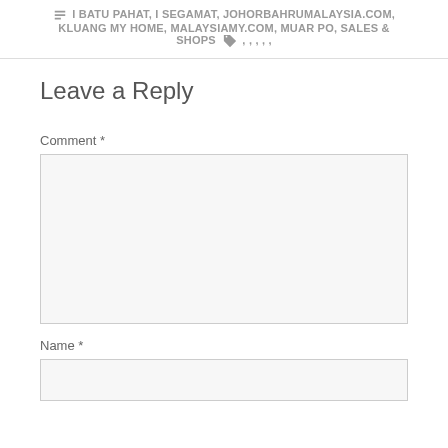I BATU PAHAT, I SEGAMAT, JOHORBAHRUMALAYSIA.COM, KLUANG MY HOME, MALAYSIAMY.COM, MUAR PO, SALES & SHOPS , , , , ,
Leave a Reply
Comment *
Name *